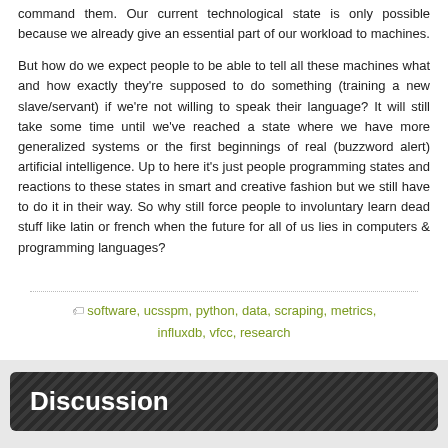command them. Our current technological state is only possible because we already give an essential part of our workload to machines.
But how do we expect people to be able to tell all these machines what and how exactly they're supposed to do something (training a new slave/servant) if we're not willing to speak their language? It will still take some time until we've reached a state where we have more generalized systems or the first beginnings of real (buzzword alert) artificial intelligence. Up to here it's just people programming states and reactions to these states in smart and creative fashion but we still have to do it in their way. So why still force people to involuntary learn dead stuff like latin or french when the future for all of us lies in computers & programming languages?
software, ucsspm, python, data, scraping, metrics, influxdb, vfcc, research
Discussion